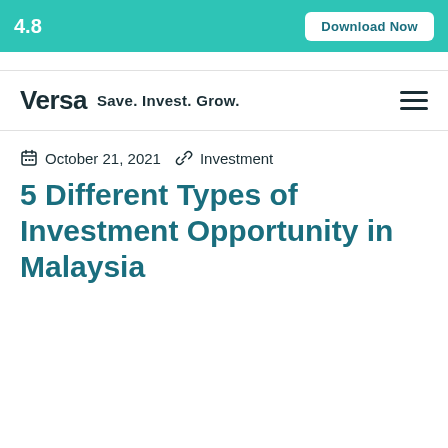4.8 | Download Now
Versa Save. Invest. Grow.
October 21, 2021  Investment
5 Different Types of Investment Opportunity in Malaysia